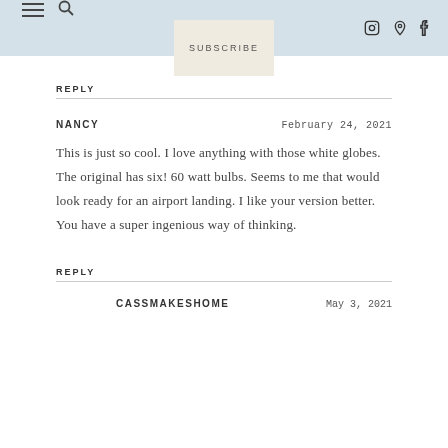SUBSCRIBE
REPLY
NANCY   February 24, 2021
This is just so cool. I love anything with those white globes. The original has six! 60 watt bulbs. Seems to me that would look ready for an airport landing. I like your version better. You have a super ingenious way of thinking.
REPLY
CASSMAKESHOME   May 3, 2021